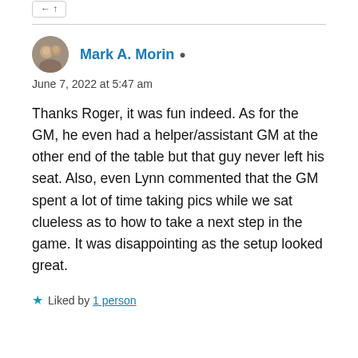[Figure (photo): Small circular avatar photo of Mark A. Morin]
Mark A. Morin
June 7, 2022 at 5:47 am
Thanks Roger, it was fun indeed. As for the GM, he even had a helper/assistant GM at the other end of the table but that guy never left his seat. Also, even Lynn commented that the GM spent a lot of time taking pics while we sat clueless as to how to take a next step in the game. It was disappointing as the setup looked great.
Liked by 1 person